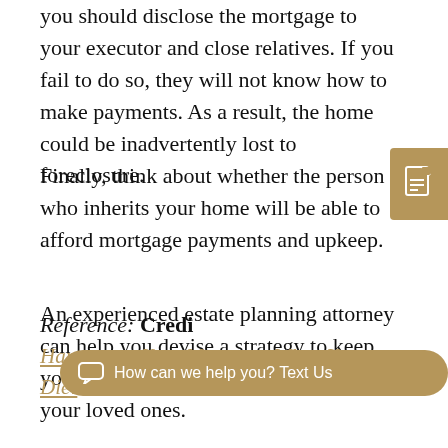you should disclose the mortgage to your executor and close relatives. If you fail to do so, they will not know how to make payments. As a result, the home could be inadvertently lost to foreclosure.
Finally, think about whether the person who inherits your home will be able to afford mortgage payments and upkeep.
An experienced estate planning attorney can help you devise a strategy to keep your gift from becoming a burden to your loved ones.
Reference: Credit... Happens to Your Mortgage When You Die!